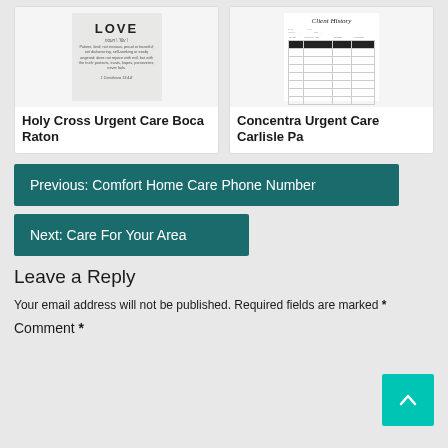[Figure (illustration): Love definition poster with bold LOVE title and 1 Corinthians 13:4-8 verse text]
Holy Cross Urgent Care Boca Raton
[Figure (illustration): Client History form with table rows and a title in cursive script]
Concentra Urgent Care Carlisle Pa
Previous: Comfort Home Care Phone Number
Next: Care For Your Area
Leave a Reply
Your email address will not be published. Required fields are marked *
Comment *